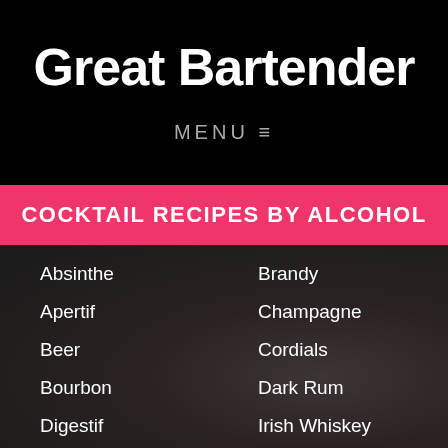Great Bartender
MENU ≡
COCKTAIL RECIPES BY ALCOHOL
Absinthe
Apertif
Beer
Bourbon
Digestif
Fortified Wine
Gin
Brandy
Champagne
Cordials
Dark Rum
Irish Whiskey
Kahlúa
Liqueur